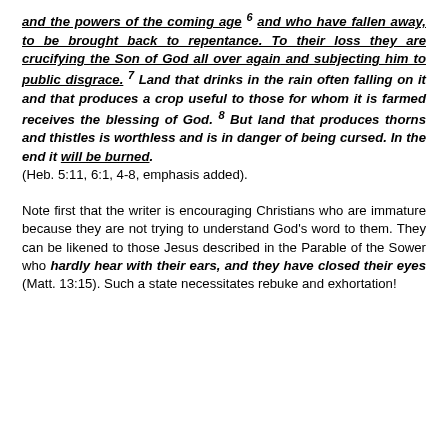and the powers of the coming age and who have fallen away, to be brought back to repentance. To their loss they are crucifying the Son of God all over again and subjecting him to public disgrace. 7 Land that drinks in the rain often falling on it and that produces a crop useful to those for whom it is farmed receives the blessing of God. 8 But land that produces thorns and thistles is worthless and is in danger of being cursed. In the end it will be burned. (Heb. 5:11, 6:1, 4-8, emphasis added).
Note first that the writer is encouraging Christians who are immature because they are not trying to understand God's word to them. They can be likened to those Jesus described in the Parable of the Sower who hardly hear with their ears, and they have closed their eyes (Matt. 13:15). Such a state necessitates rebuke and exhortation!